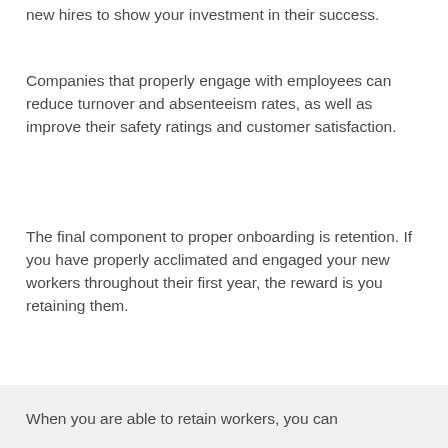new hires to show your investment in their success.
Companies that properly engage with employees can reduce turnover and absenteeism rates, as well as improve their safety ratings and customer satisfaction.
The final component to proper onboarding is retention. If you have properly acclimated and engaged your new workers throughout their first year, the reward is you retaining them.
[Figure (other): Gray rectangular background section]
When you are able to retain workers, you can